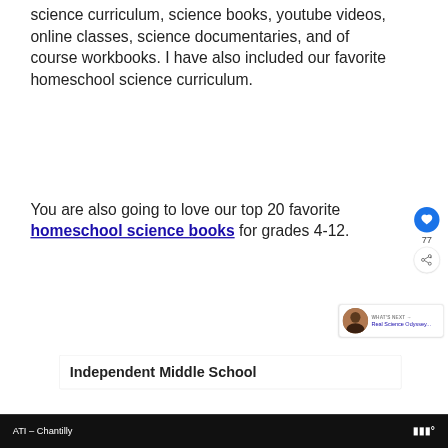science curriculum, science books, youtube videos, online classes, science documentaries, and of course workbooks. I have also included our favorite homeschool science curriculum.
You are also going to love our top 20 favorite homeschool science books for grades 4-12.
[Figure (screenshot): Like/heart button (blue circle with heart icon) with count 77, and share button below it]
[Figure (screenshot): What's Next panel showing a thumbnail image and text: WHAT'S NEXT → Real Science Odyssey...]
Independent Middle School
ATI – Chantilly